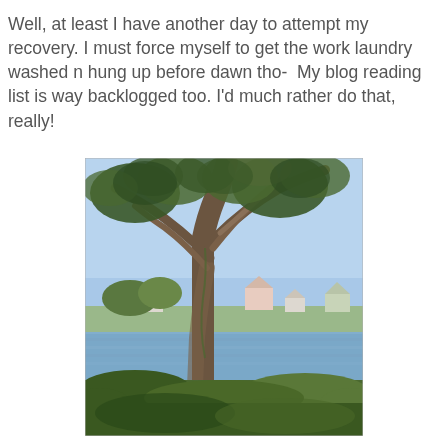Well, at least I have another day to attempt my recovery. I must force myself to get the work laundry washed n hung up before dawn tho-  My blog reading list is way backlogged too. I'd much rather do that, really!
[Figure (photo): A large tree with wide-spreading branches in the foreground, with a calm body of water and residential houses visible in the background, and green vegetation at the base.]